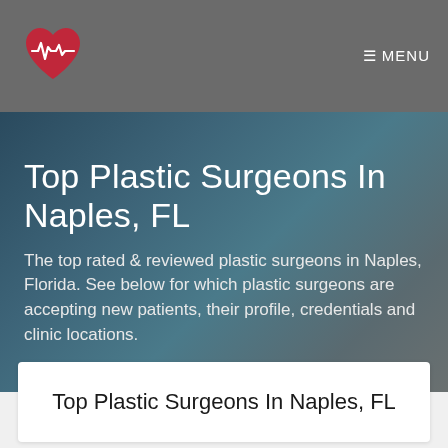☰ MENU
Top Plastic Surgeons In Naples, FL
The top rated & reviewed plastic surgeons in Naples, Florida. See below for which plastic surgeons are accepting new patients, their profile, credentials and clinic locations.
Top Plastic Surgeons In Naples, FL